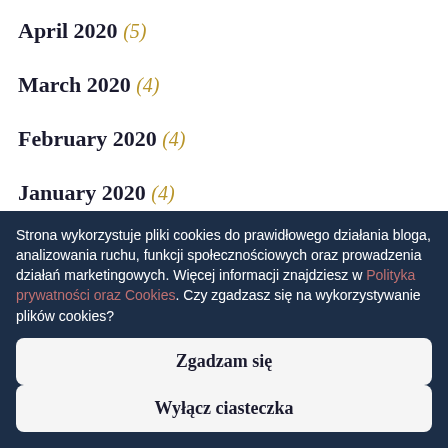April 2020 (5)
March 2020 (4)
February 2020 (4)
January 2020 (4)
Strona wykorzystuje pliki cookies do prawidłowego działania bloga, analizowania ruchu, funkcji społecznościowych oraz prowadzenia działań marketingowych. Więcej informacji znajdziesz w Polityka prywatności oraz Cookies. Czy zgadzasz się na wykorzystywanie plików cookies?
Zgadzam się
Wyłącz ciasteczka